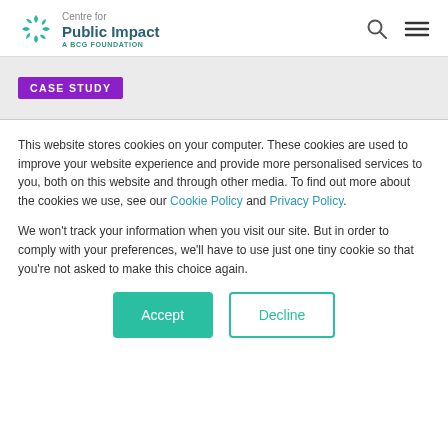Centre for Public Impact — A BCG Foundation
CASE STUDY
This website stores cookies on your computer. These cookies are used to improve your website experience and provide more personalised services to you, both on this website and through other media. To find out more about the cookies we use, see our Cookie Policy and Privacy Policy.
We won't track your information when you visit our site. But in order to comply with your preferences, we'll have to use just one tiny cookie so that you're not asked to make this choice again.